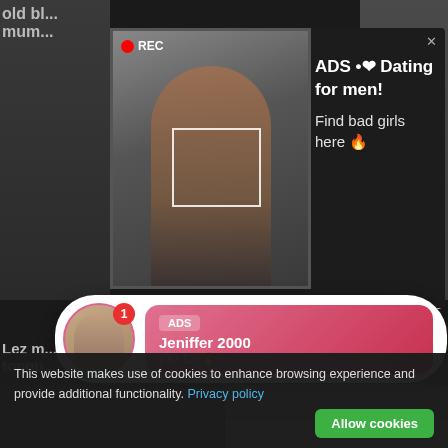old bl... mum...
972
[Figure (screenshot): Camera thumbnail with REC indicator and focus bracket overlay, showing person taking selfie]
[Figure (screenshot): Ad popup on dark background: ADS • ❤ Dating for men! Find bad girls here 🔥]
Lez m... tongu...
35:13
2 686
[Figure (screenshot): Notification popup with avatar, LIVE badge, ADS label and pink gradient bubble: Jeniffer 2000 (00:12)🔥]
[Figure (screenshot): Bottom video thumbnails showing two video stills side by side]
This website makes use of cookies to enhance browsing experience and provide additional functionality. Privacy policy
Allow cookies